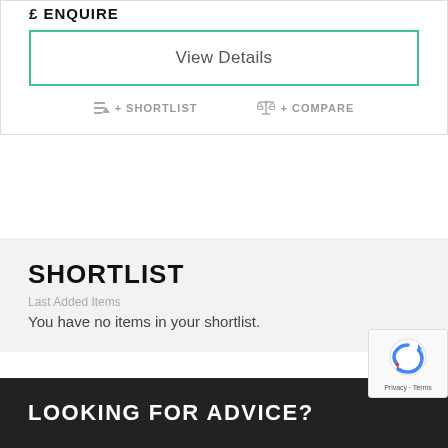£ ENQUIRE
View Details
+ SHORTLIST
+ COMPARE
SHORTLIST
Last Added Items
You have no items in your shortlist.
LOOKING FOR ADVICE?